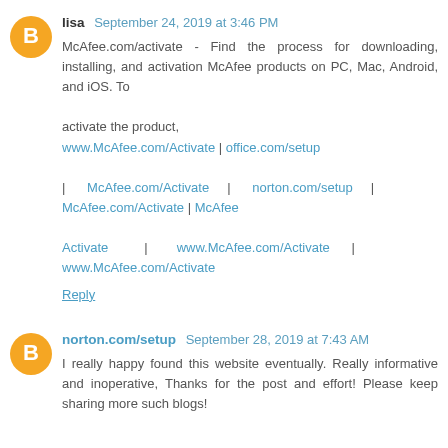lisa September 24, 2019 at 3:46 PM
McAfee.com/activate - Find the process for downloading, installing, and activation McAfee products on PC, Mac, Android, and iOS. To

activate the product,
www.McAfee.com/Activate | office.com/setup

| McAfee.com/Activate | norton.com/setup | McAfee.com/Activate | McAfee

Activate | www.McAfee.com/Activate | www.McAfee.com/Activate
Reply
norton.com/setup September 28, 2019 at 7:43 AM
I really happy found this website eventually. Really informative and inoperative, Thanks for the post and effort! Please keep sharing more such blogs!